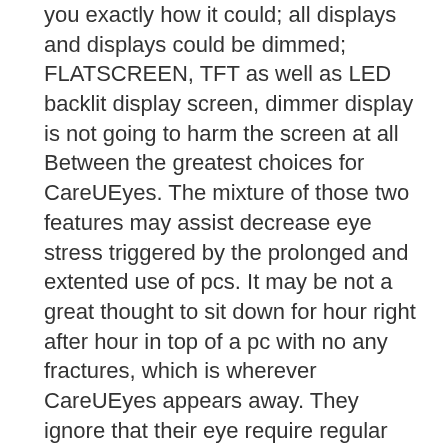you exactly how it could; all displays and displays could be dimmed; FLATSCREEN, TFT as well as LED backlit display screen, dimmer display is not going to harm the screen at all Between the greatest choices for CareUEyes. The mixture of those two features may assist decrease eye stress triggered by the prolonged and extented use of pcs. It may be not a great thought to sit down for hour right after hour in top of a pc with no any fractures, which is wherever CareUEyes appears away. They ignore that their eye require regular relax from the continuous looking at the pc. Also More Check: Cubase Pro Crack